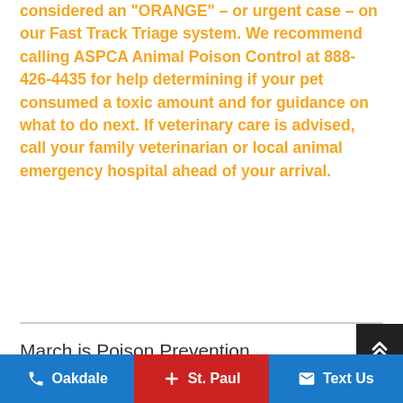considered an "ORANGE" – or urgent case – on our Fast Track Triage system. We recommend calling ASPCA Animal Poison Control at 888-426-4435 for help determining if your pet consumed a toxic amount and for guidance on what to do next. If veterinary care is advised, call your family veterinarian or local animal emergency hospital ahead of your arrival.
March is Poison Prevention
Oakdale  +  St. Paul  Text Us